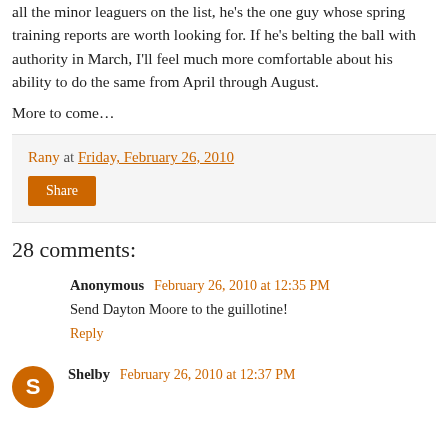all the minor leaguers on the list, he's the one guy whose spring training reports are worth looking for. If he's belting the ball with authority in March, I'll feel much more comfortable about his ability to do the same from April through August.
More to come…
Rany at Friday, February 26, 2010
Share
28 comments:
Anonymous February 26, 2010 at 12:35 PM
Send Dayton Moore to the guillotine!
Reply
Shelby February 26, 2010 at 12:37 PM